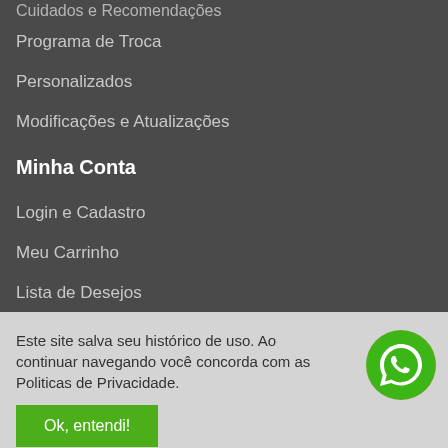Cuidados e Recomendações
Programa de Troca
Personalizados
Modificações e Atualizações
Minha Conta
Login e Cadastro
Meu Carrinho
Lista de Desejos
Meus Pedidos
Este site salva seu histórico de uso. Ao continuar navegando você concorda com as Politicas de Privacidade.
Ok, entendi!
[Figure (logo): WhatsApp green circular button icon]